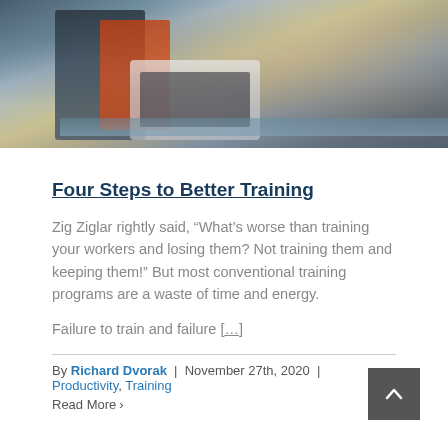[Figure (photo): Two people at a glass desk, one in a suit leaning over, one in orange, working on a laptop computer]
Four Steps to Better Training
Zig Ziglar rightly said, “What’s worse than training your workers and losing them? Not training them and keeping them!” But most conventional training programs are a waste of time and energy.
Failure to train and failure […]
By Richard Dvorak | November 27th, 2020 | Productivity, Training
Read More ›